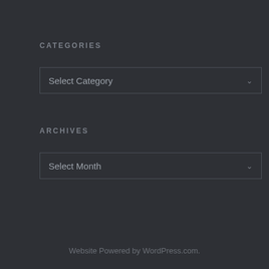CATEGORIES
[Figure (screenshot): Dropdown widget labeled 'Select Category' with a chevron arrow on the right, styled with a dark theme border]
ARCHIVES
[Figure (screenshot): Dropdown widget labeled 'Select Month' with a chevron arrow on the right, styled with a dark theme border]
Website Powered by WordPress.com.